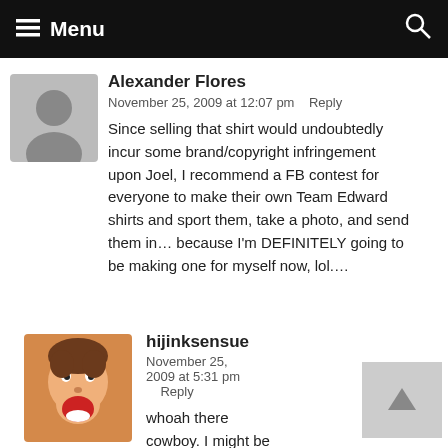Menu
Alexander Flores
November 25, 2009 at 12:07 pm   Reply
Since selling that shirt would undoubtedly incur some brand/copyright infringement upon Joel, I recommend a FB contest for everyone to make their own Team Edward shirts and sport them, take a photo, and send them in... because I'm DEFINITELY going to be making one for myself now, lol....
hijinksensue
November 25, 2009 at 5:31 pm   Reply
whoah there cowboy. I might be